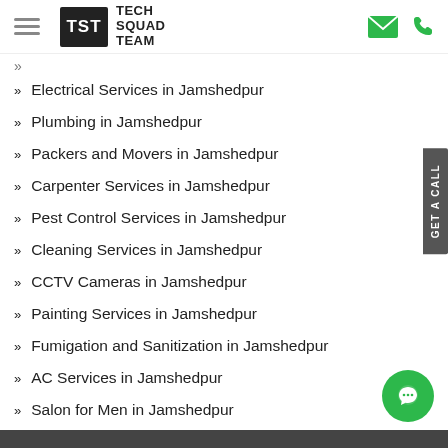Tech Squad Team
» Electrical Services in Jamshedpur
» Plumbing in Jamshedpur
» Packers and Movers in Jamshedpur
» Carpenter Services in Jamshedpur
» Pest Control Services in Jamshedpur
» Cleaning Services in Jamshedpur
» CCTV Cameras in Jamshedpur
» Painting Services in Jamshedpur
» Fumigation and Sanitization in Jamshedpur
» AC Services in Jamshedpur
» Salon for Men in Jamshedpur